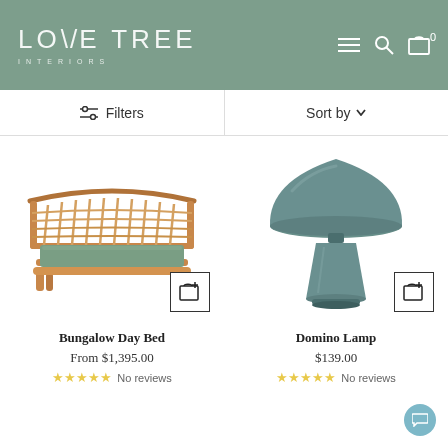[Figure (logo): Love Tree Interiors logo in white on sage green header background]
[Figure (infographic): Header navigation icons: hamburger menu, search, and cart with 0 count]
Filters
Sort by
[Figure (photo): Bungalow Day Bed - rattan/wicker daybed with sage green cushion]
[Figure (photo): Domino Lamp - sage green mushroom-style table lamp]
Bungalow Day Bed
From $1,395.00
No reviews
Domino Lamp
$139.00
No reviews